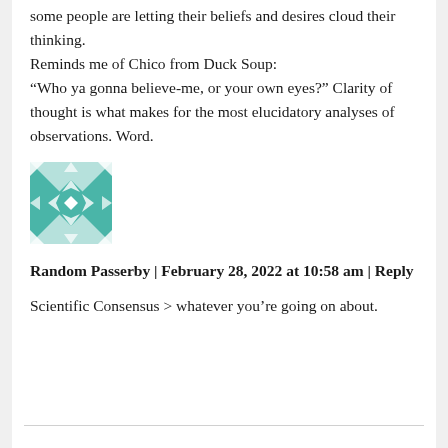some people are letting their beliefs and desires cloud their thinking. Reminds me of Chico from Duck Soup: “Who ya gonna believe-me, or your own eyes?” Clarity of thought is what makes for the most elucidatory analyses of observations. Word.
[Figure (illustration): Teal and white geometric quilt-pattern avatar icon]
Random Passerby | February 28, 2022 at 10:58 am | Reply
Scientific Consensus > whatever you’re going on about.